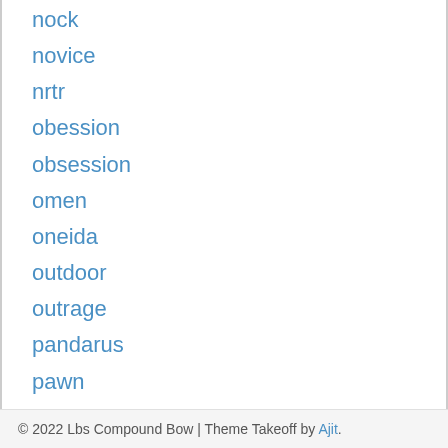nock
novice
nrtr
obession
obsession
omen
oneida
outdoor
outrage
pandarus
pawn
perform
phenom
pound
pounds
power
prime
prisoner
© 2022 Lbs Compound Bow | Theme Takeoff by Ajit.